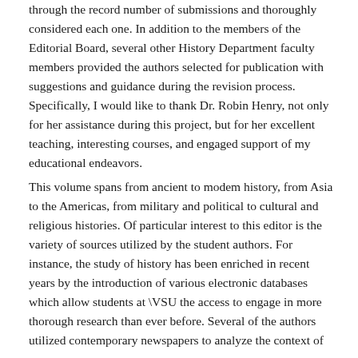through the record number of submissions and thoroughly considered each one. In addition to the members of the Editorial Board, several other History Department faculty members provided the authors selected for publication with suggestions and guidance during the revision process. Specifically, I would like to thank Dr. Robin Henry, not only for her assistance during this project, but for her excellent teaching, interesting courses, and engaged support of my educational endeavors.
This volume spans from ancient to modem history, from Asia to the Americas, from military and political to cultural and religious histories. Of particular interest to this editor is the variety of sources utilized by the student authors. For instance, the study of history has been enriched in recent years by the introduction of various electronic databases which allow students at \VSU the access to engage in more thorough research than ever before. Several of the authors utilized contemporary newspapers to analyze the context of